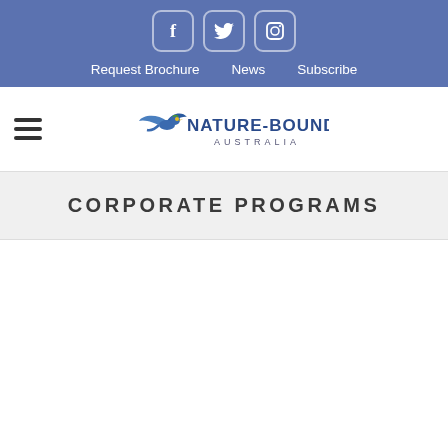Social icons: Facebook, Twitter, Instagram | Navigation: Request Brochure, News, Subscribe
[Figure (logo): Nature-Bound Australia logo with bird graphic and text]
CORPORATE PROGRAMS